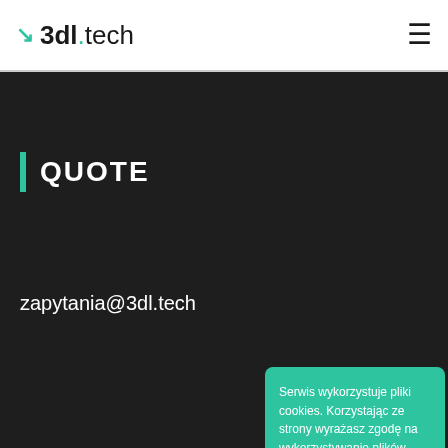3dl.tech
QUOTE
zapytania@3dl.tech
Copyright ©
Serwis wykorzystuje pliki cookies. Korzystając ze strony wyrażasz zgodę na wykorzystywanie plików cookies, więcej o polityce cookies.
Akceptuję